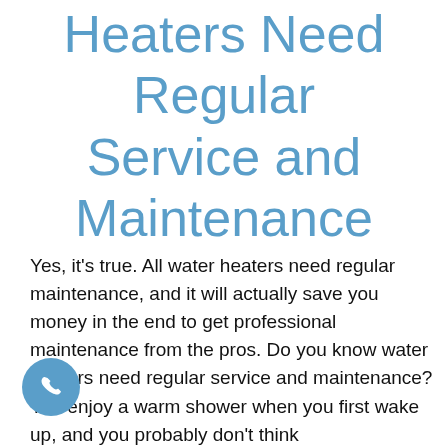Heaters Need Regular Service and Maintenance
Yes, it's true. All water heaters need regular maintenance, and it will actually save you money in the end to get professional maintenance from the pros. Do you know water heaters need regular service and maintenance? You enjoy a warm shower when you first wake up, and you probably don't think about how that happens[...]
[Figure (illustration): A circular blue phone/call button icon in the bottom left corner]